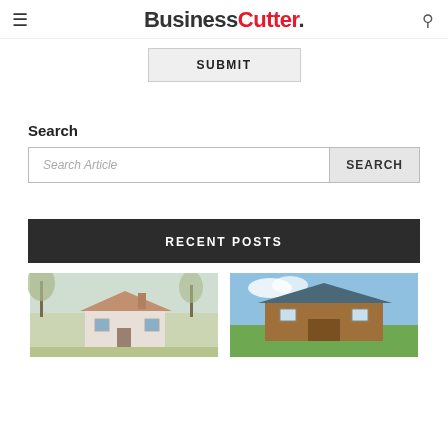BusinessCutter.
SUBMIT
Search
Search Article
SEARCH
RECENT POSTS
[Figure (photo): Exterior photo of a house with bare trees in spring]
[Figure (photo): Exterior photo of a barn or outbuilding with green fields and blue sky]